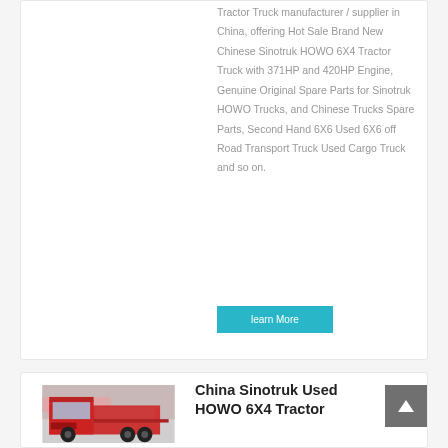Tractor Truck manufacturer / supplier in China, offering Hot Sale Brand New Chinese Sinotruk HOWO 6X4 Tractor Truck with 371HP and 420HP Engine, Genuine Original Spare Parts for Sinotruk HOWO Trucks, and Chinese Trucks Spare Parts, Second Hand 6X6 Used 6X6 off Road Transport Truck Used Cargo Truck and so on.
[Figure (other): Cyan/teal 'learn More' button]
[Figure (photo): Red Sinotruk HOWO truck parked in a lot, front/side view]
China Sinotruk Used HOWO 6X4 Tractor